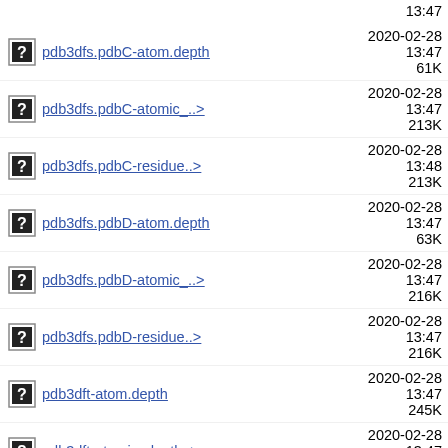13:47 (partial top)
pdb3dfs.pdbC-atom.depth  2020-02-28 13:47  61K
pdb3dfs.pdbC-atomic_..>  2020-02-28 13:47  213K
pdb3dfs.pdbC-residue..>  2020-02-28 13:48  213K
pdb3dfs.pdbD-atom.depth  2020-02-28 13:47  63K
pdb3dfs.pdbD-atomic_..>  2020-02-28 13:47  216K
pdb3dfs.pdbD-residue..>  2020-02-28 13:47  216K
pdb3dft-atom.depth  2020-02-28 13:47  245K
pdb3dft-atomic_depth..>  2020-02-28 13:47  851K
pdb3dft-residue.depth  2020-02-28 13:48  110K
pdb3dft-residue_dept..>  2020-02-28 13:47  851K
pdb3dft.pdb-complex  2020-02-28 13:47  830K